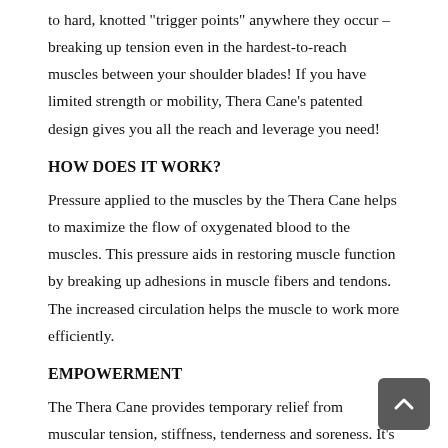to hard, knotted "trigger points" anywhere they occur – breaking up tension even in the hardest-to-reach muscles between your shoulder blades! If you have limited strength or mobility, Thera Cane's patented design gives you all the reach and leverage you need!
HOW DOES IT WORK?
Pressure applied to the muscles by the Thera Cane helps to maximize the flow of oxygenated blood to the muscles. This pressure aids in restoring muscle function by breaking up adhesions in muscle fibers and tendons. The increased circulation helps the muscle to work more efficiently.
EMPOWERMENT
The Thera Cane provides temporary relief from muscular tension, stiffness, tenderness and soreness. It's simple to